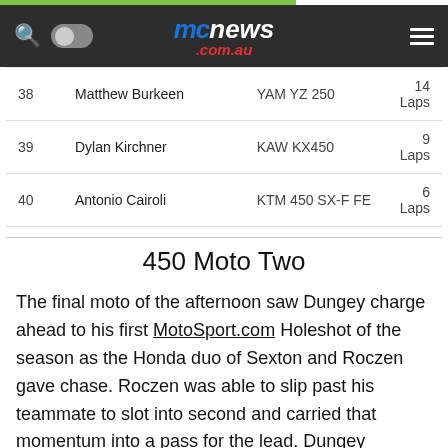mcnews.com.au
| # | Name | Bike | Laps |
| --- | --- | --- | --- |
| 38 | Matthew Burkeen | YAM YZ 250 | 14 Laps |
| 39 | Dylan Kirchner | KAW KX450 | 9 Laps |
| 40 | Antonio Cairoli | KTM 450 SX-F FE | 6 Laps |
450 Moto Two
The final moto of the afternoon saw Dungey charge ahead to his first MotoSport.com Holeshot of the season as the Honda duo of Sexton and Roczen gave chase. Roczen was able to slip past his teammate to slot into second and carried that momentum into a pass for the lead. Dungey responded immediately and reclaimed the top spot to complete the opening lap, but Roczen got back around. Sexton then followed through into second, which put Dungey into the crosshairs of Anderson in fourth. The